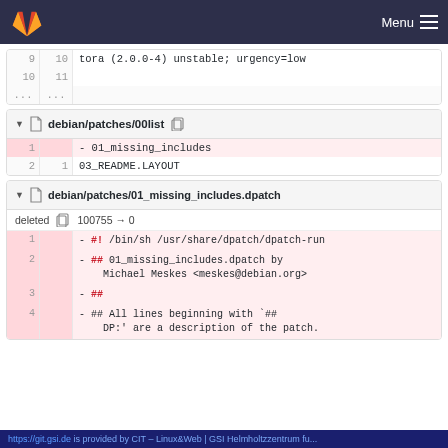Menu (GitLab navigation bar)
| old | new | code |
| --- | --- | --- |
| 9 | 10 | tora (2.0.0-4) unstable; urgency=low |
| 10 | 11 |  |
| ... | ... |  |
debian/patches/00list
| old | new | code |
| --- | --- | --- |
| 1 |  | - 01_missing_includes |
| 2 | 1 | 03_README.LAYOUT |
debian/patches/01_missing_includes.dpatch
deleted  100755 → 0
| old | new | code |
| --- | --- | --- |
| 1 |  | - #! /bin/sh /usr/share/dpatch/dpatch-run |
| 2 |  | - ## 01_missing_includes.dpatch by Michael Meskes <meskes@debian.org> |
| 3 |  | - ## |
| 4 |  | - ## All lines beginning with `## DP:' are a description of the patch. |
https://git.gsi.de is provided by CIT – Linux&Web | GSI Helmholtzzentrum fu...